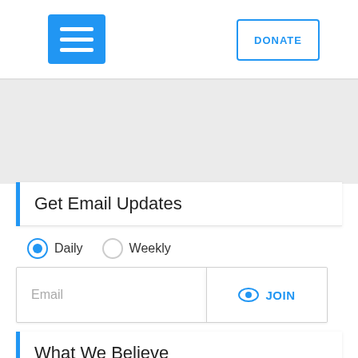[Figure (screenshot): Blue hamburger menu button (three horizontal white bars on blue background) in the top left of the navigation bar]
DONATE
Get Email Updates
Daily   Weekly
Email   JOIN
What We Believe